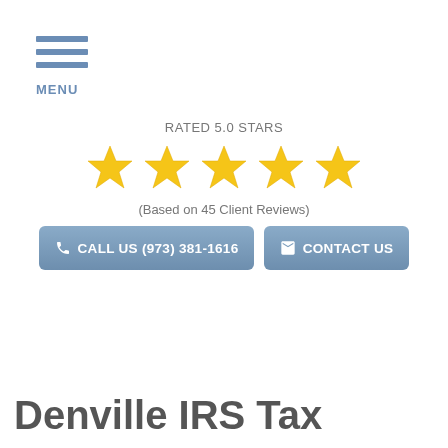[Figure (other): Hamburger menu icon with three horizontal blue lines and MENU label below]
RATED 5.0 STARS
[Figure (other): Five gold star rating icons in a row]
(Based on 45 Client Reviews)
[Figure (other): Two buttons: CALL US (973) 381-1616 and CONTACT US, both with blue-grey background]
Denville IRS Tax